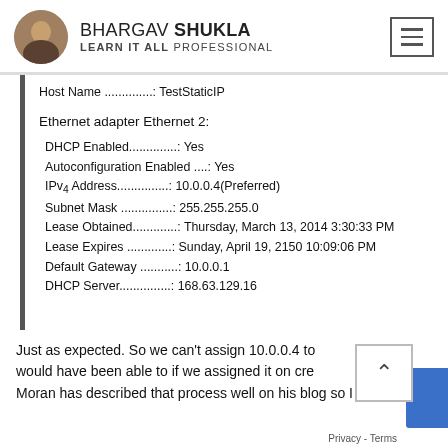BHARGAV SHUKLA — LEARN IT ALL PROFESSIONAL
Host Name ..............: TestStaticIP

Ethernet adapter Ethernet 2:

   DHCP Enabled..............: Yes
   Autoconfiguration Enabled ....: Yes
   IPv4 Address...............: 10.0.0.4(Preferred)
   Subnet Mask ...............: 255.255.255.0
   Lease Obtained.............: Thursday, March 13, 2014 3:30:33 PM
   Lease Expires .............: Sunday, April 19, 2150 10:09:06 PM
   Default Gateway ...........: 10.0.0.1
   DHCP Server...............: 168.63.129.16
Just as expected. So we can't assign 10.0.0.4 to would have been able to if we assigned it on cre Moran has described that process well on his blog so I wil